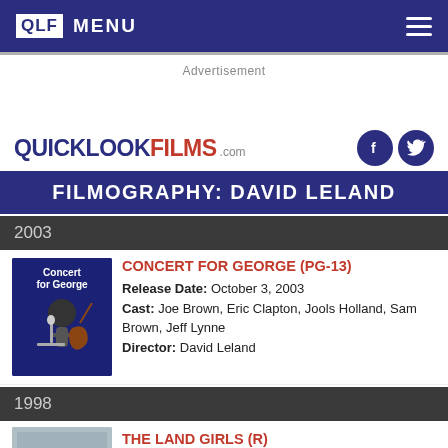QLF MENU
Advertisement
QUICKLOOKFILMS.com
FILMOGRAPHY: DAVID LELAND
2003
CONCERT FOR GEORGE (PG-13)
Release Date: October 3, 2003
Cast: Joe Brown, Eric Clapton, Jools Holland, Sam Brown, Jeff Lynne
Director: David Leland
1998
THE LAND GIRLS (R)